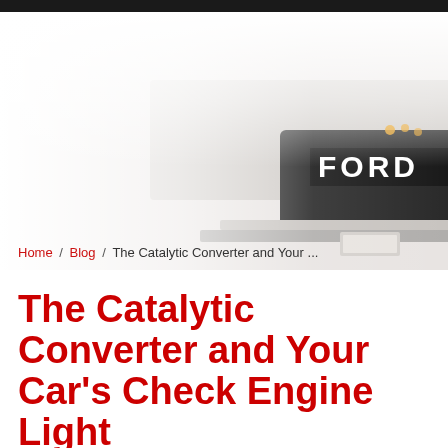[Figure (photo): Faded/washed-out photo of a Ford truck (pickup), showing the front grille area with FORD lettering visible, light and dark tones, faded toward white on the left side.]
Home / Blog / The Catalytic Converter and Your ...
The Catalytic Converter and Your Car's Check Engine Light
Posted on March 31, 2022 in Check Engine Light ...